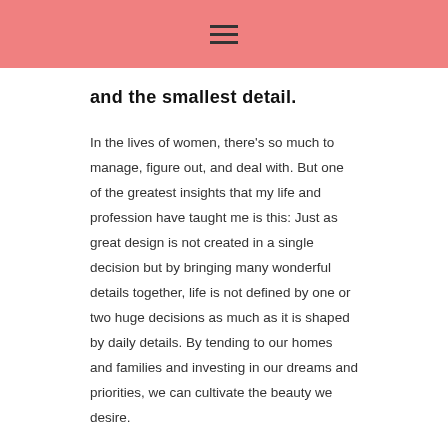≡
and the smallest detail.
In the lives of women, there’s so much to manage, figure out, and deal with. But one of the greatest insights that my life and profession have taught me is this: Just as great design is not created in a single decision but by bringing many wonderful details together, life is not defined by one or two huge decisions as much as it is shaped by daily details. By tending to our homes and families and investing in our dreams and priorities, we can cultivate the beauty we desire.
***